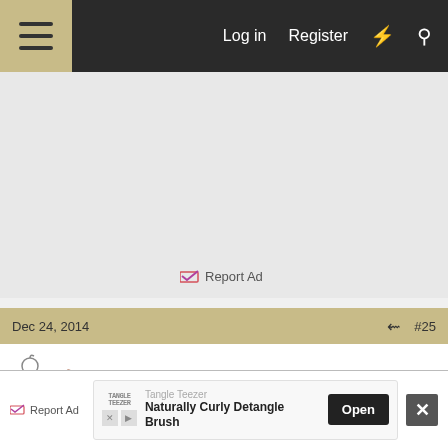Log in  Register
[Figure (screenshot): Advertisement placeholder area with light gray background]
Report Ad
Dec 24, 2014  #25
day_trippr
Structural Duct Tape Sales Engineer
froot said: ↑
[Figure (screenshot): Bottom advertisement banner: Tangle Teezer – Naturally Curly Detangle Brush, Open button]
Report Ad